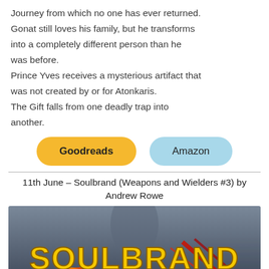Journey from which no one has ever returned. Gonat still loves his family, but he transforms into a completely different person than he was before.
Prince Yves receives a mysterious artifact that was not created by or for Atonkaris.
The Gift falls from one deadly trap into another.
[Figure (other): Two pill-shaped buttons: orange 'Goodreads' button and light blue 'Amazon' button]
11th June – Soulbrand (Weapons and Wielders #3) by Andrew Rowe
[Figure (photo): Book cover for Soulbrand (Weapons and Wielders #3) by Andrew Rowe showing the title 'SOULBRAND' in large gold stylized letters with 'WEAPONS AND WIELDERS' subtitle, set against a dramatic dark fantasy background with fire and weapon imagery.]